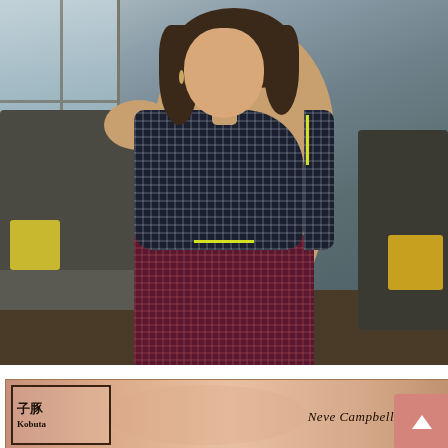[Figure (photo): A woman wearing a dark navy/black one-shoulder checked top with yellow trim and dark burgundy checked trousers, standing in a modern interior living room setting with sofas and a window in the background.]
[Figure (photo): A partial bottom strip image showing what appears to be a fashion editorial or magazine page. On the left are Japanese characters '子豚' (Kobuta) and below 'Kobuta' in Latin script. On the right side reads 'Neve Campbell' in italic script. A pink/salmon scroll-to-top button appears at the bottom right corner.]